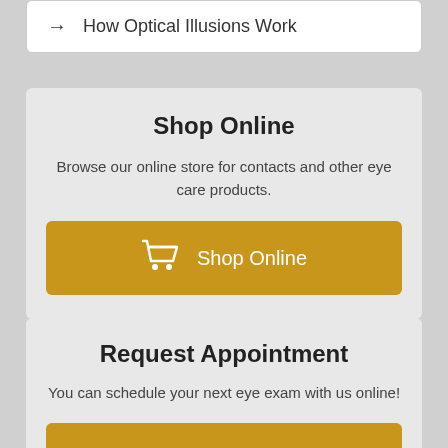→ How Optical Illusions Work
Shop Online
Browse our online store for contacts and other eye care products.
Shop Online
Request Appointment
You can schedule your next eye exam with us online!